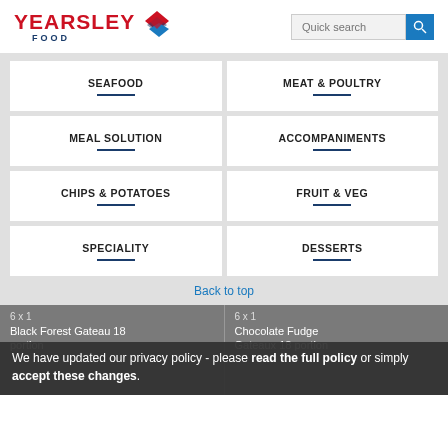[Figure (logo): Yearsley Food logo with red text YEARSLEY, dark blue text FOOD, and diamond graphic]
Quick search
SEAFOOD
MEAT & POULTRY
MEAL SOLUTION
ACCOMPANIMENTS
CHIPS & POTATOES
FRUIT & VEG
SPECIALITY
DESSERTS
Back to top
6 x 1
Black Forest Gateau 18 portion
6 x 1
Chocolate Fudge Gateaux 18 portion
We have updated our privacy policy - please read the full policy or simply accept these changes.